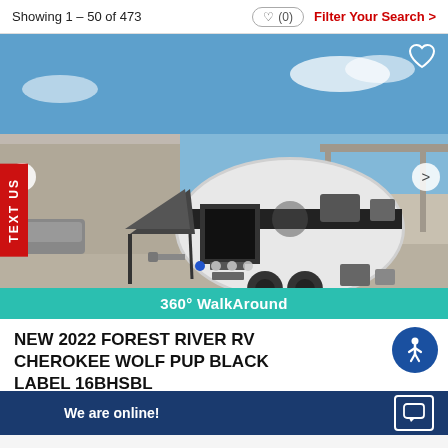Showing 1 – 50 of 473
(0)
Filter Your Search >
[Figure (photo): Photo of a 2022 Forest River RV Cherokee Wolf Pup Black Label 16BHSBL travel trailer with awning extended, parked in an outdoor lot with blue sky background. Shows carousel navigation arrows and a 360° WalkAround banner at the bottom.]
360° WalkAround
NEW 2022 FOREST RIVER RV CHEROKEE WOLF PUP BLACK LABEL 16BHSBL
Bunk Beds
Travel Tra
We are online!